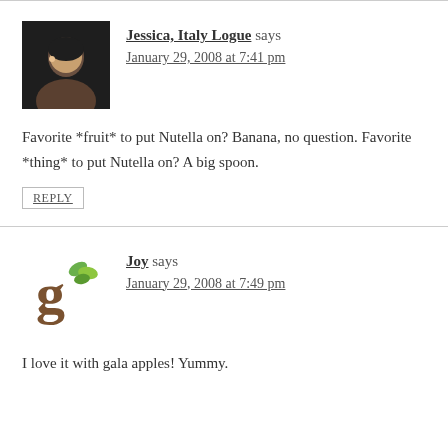Jessica, Italy Logue says
January 29, 2008 at 7:41 pm
Favorite *fruit* to put Nutella on? Banana, no question. Favorite *thing* to put Nutella on? A big spoon.
REPLY
Joy says
January 29, 2008 at 7:49 pm
I love it with gala apples! Yummy.